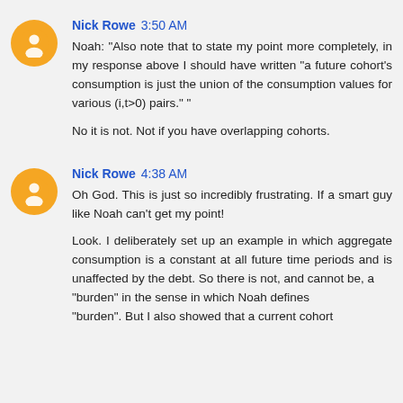Nick Rowe 3:50 AM — Noah: "Also note that to state my point more completely, in my response above I should have written "a future cohort's consumption is just the union of the consumption values for various (i,t>0) pairs." "

No it is not. Not if you have overlapping cohorts.
Nick Rowe 4:38 AM — Oh God. This is just so incredibly frustrating. If a smart guy like Noah can't get my point!

Look. I deliberately set up an example in which aggregate consumption is a constant at all future time periods and is unaffected by the debt. So there is not, and cannot be, a "burden" in the sense in which Noah defines "burden". But I also showed that a current cohort